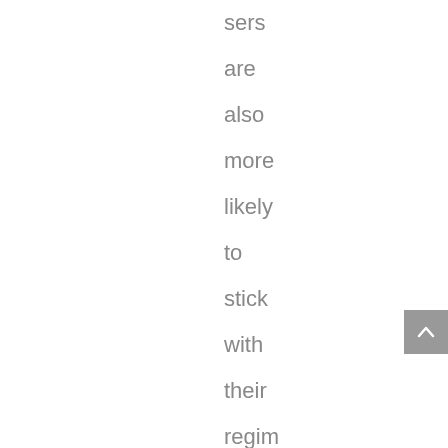sers are also more likely to stick with their regimen than their indoor counterparts, but it doesn'